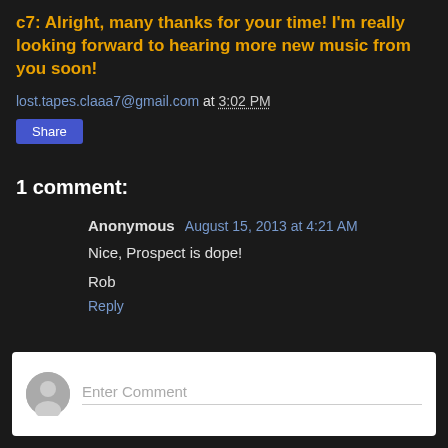c7: Alright, many thanks for your time! I'm really looking forward to hearing more new music from you soon!
lost.tapes.claaa7@gmail.com at 3:02 PM
Share
1 comment:
Anonymous August 15, 2013 at 4:21 AM
Nice, Prospect is dope!

Rob
Reply
Enter Comment